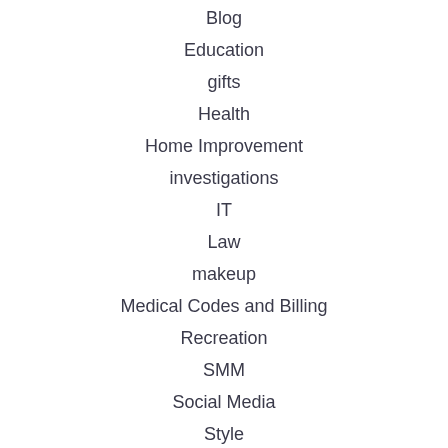Blog
Education
gifts
Health
Home Improvement
investigations
IT
Law
makeup
Medical Codes and Billing
Recreation
SMM
Social Media
Style
Survey